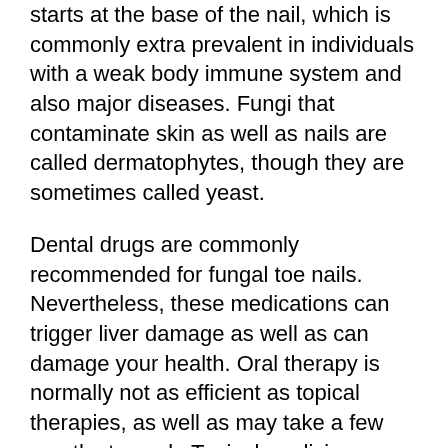starts at the base of the nail, which is commonly extra prevalent in individuals with a weak body immune system and also major diseases. Fungi that contaminate skin as well as nails are called dermatophytes, though they are sometimes called yeast.
Dental drugs are commonly recommended for fungal toe nails. Nevertheless, these medications can trigger liver damage as well as can damage your health. Oral therapy is normally not as efficient as topical therapies, as well as may take a few months to work. Topical medicines might be a far better choice, however they are much less efficient. Along with taking antifungal tablet computers, you can additionally look for professional treatment for nail fungi.